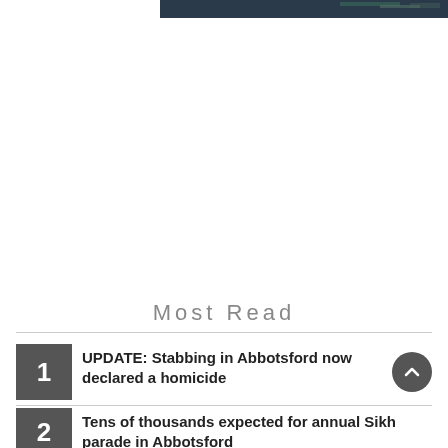[Figure (photo): Partial dark-toned photograph at top of page, cropped]
Most Read
1  UPDATE: Stabbing in Abbotsford now declared a homicide
2  Tens of thousands expected for annual Sikh parade in Abbotsford